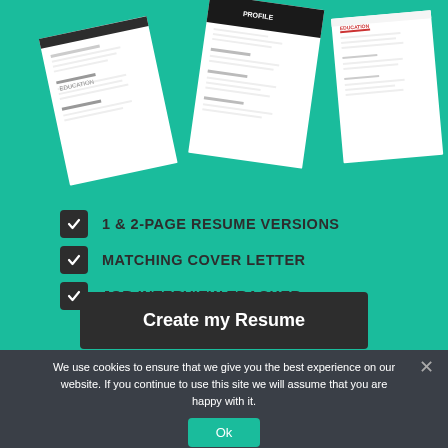[Figure (illustration): Teal background with scattered resume/CV document mockups shown at an angle, including pages labeled PROFILE, EDUCATION, and others with black accents and red highlights.]
1 & 2-PAGE RESUME VERSIONS
MATCHING COVER LETTER
JOB INTERVIEW TRACKER
Create my Resume
We use cookies to ensure that we give you the best experience on our website. If you continue to use this site we will assume that you are happy with it.
Ok